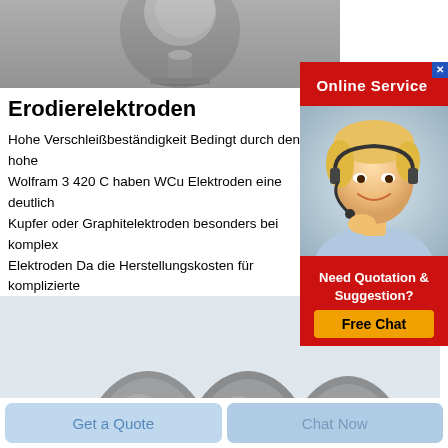[Figure (photo): Top photo of a spherical metallic electrode or powder sample on gray background]
[Figure (photo): Online Service banner with red background and customer service agent photo (woman with headset)]
Erodierelektroden
Hohe Verschleißbeständigkeit Bedingt durch den hohe Wolfram 3 420 C haben WCu Elektroden eine deutlich Kupfer oder Graphitelektroden besonders bei komplex Elektroden Da die Herstellungskosten für komplizierte höher sind als die reinen Materialkosten bedeutet der E
[Figure (photo): Bottom photo showing three dark bullet/egg-shaped electrode tips on light gray background]
[Figure (infographic): Need Quotation & Suggestion? Free Chat banner with red background and yellow button]
Get a Quote
Chat Now